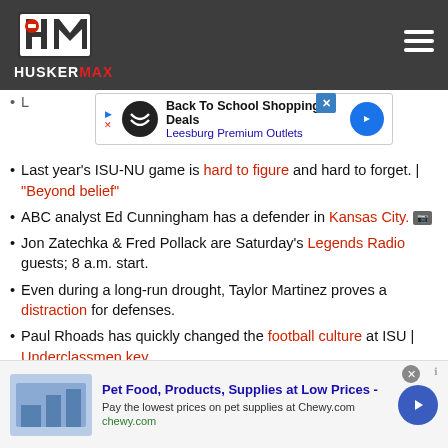HUSKERMAX
[Figure (logo): HuskerMax logo with HM monogram on dark gray header bar]
Last year's ISU-NU game is hard to figure and hard to forget. | "Beyond belief"
ABC analyst Ed Cunningham has a defender in Kansas City.
Jon Zatechka & Fred Pollack are Saturday's Legends Radio guests; 8 a.m. start.
Even during a long-run drought, Taylor Martinez proves a distraction for defenses.
Paul Rhoads has quickly changed the football culture at ISU | Underclassmen key
Hometown Husker: Tyler Legate from the town of Neligh.
[Figure (infographic): Bottom advertisement: Pet Food, Products, Supplies at Low Prices - Chewy.com]